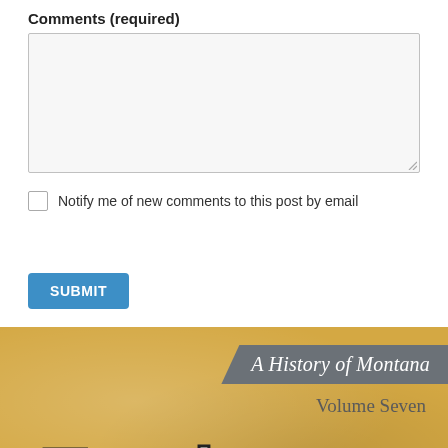Comments (required)
[Figure (screenshot): A textarea input box for comments, with a light gray background and resize handle in the bottom-right corner.]
Notify me of new comments to this post by email
SUBMIT
[Figure (photo): Book cover for 'A History of Montana, Volume Seven' featuring a sandy/golden textured background with gray banner reading 'A History of Montana', subtitle 'Volume Seven', and large white bold text reading 'Tourists and' at the bottom.]